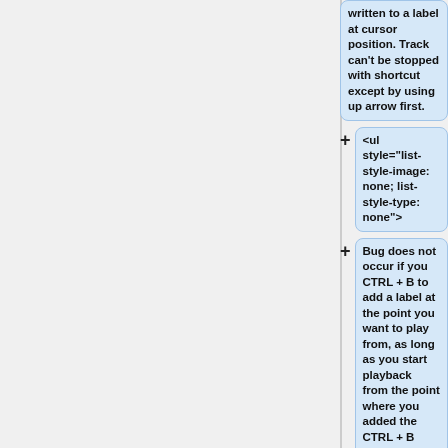written to a label at cursor position. Track can't be stopped with shortcut except by using up arrow first.
<ul style="list-style-image: none; list-style-type: none">
Bug does not occur if you CTRL + B to add a label at the point you want to play from, as long as you start playback from the point where you added the CTRL + B label. </ul>
|-